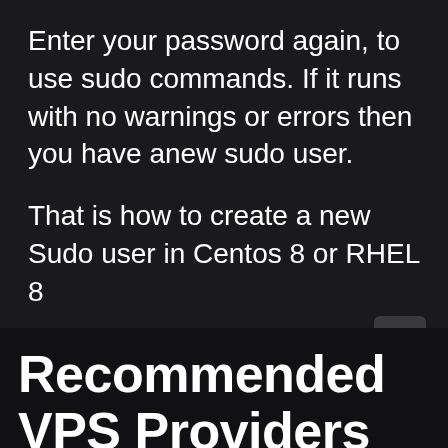Enter your password again, to use sudo commands. If it runs with no warnings or errors then you have anew sudo user.
That is how to create a new Sudo user in Centos 8 or RHEL 8
Recommended VPS Providers